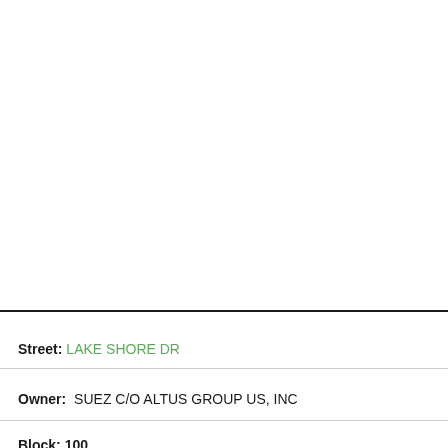Street: LAKE SHORE DR
Owner: SUEZ C/O ALTUS GROUP US, INC
Block: 100